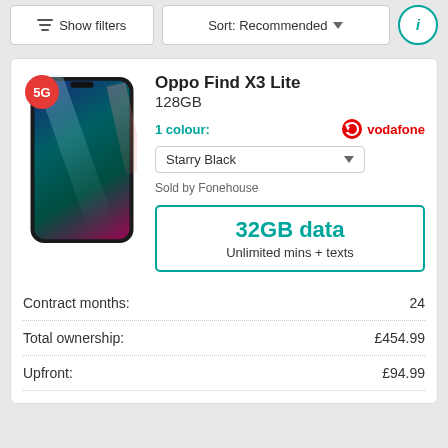Show filters  Sort: Recommended
Oppo Find X3 Lite
128GB
1 colour:
vodafone
Starry Black
Sold by Fonehouse
32GB data
Unlimited mins + texts
|  |  |
| --- | --- |
| Contract months: | 24 |
| Total ownership: | £454.99 |
| Upfront: | £94.99 |